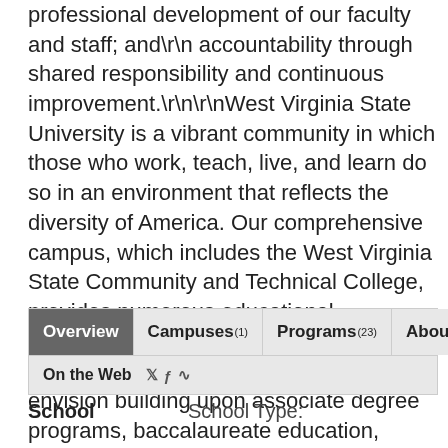professional development of our faculty and staff; and\r\n accountability through shared responsibility and continuous improvement.\r\n\r\nWest Virginia State University is a vibrant community in which those who work, teach, live, and learn do so in an environment that reflects the diversity of America. Our comprehensive campus, which includes the West Virginia State Community and Technical College, provides numerous educational opportunities for our students. We take great pride in our accomplishments and envision building upon associate degree programs, baccalaureate education, graduate offerings, and excellence in teaching, research, and service.
[Figure (screenshot): Navigation tab bar with tabs: Overview (active/dark), Campuses (1), Programs (23), About; and a second row with On the Web label and social media icons (Twitter, Facebook, RSS)]
School    School Type: